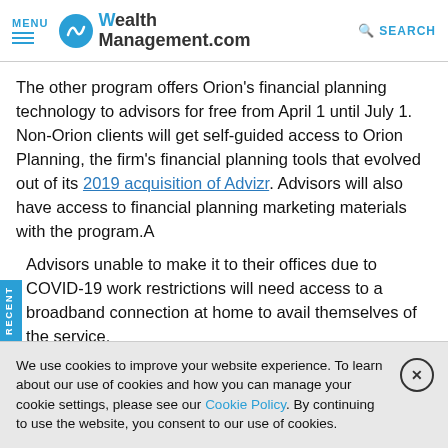MENU | WealthManagement.com | SEARCH
The other program offers Orion’s financial planning technology to advisors for free from April 1 until July 1. Non-Orion clients will get self-guided access to Orion Planning, the firm’s financial planning tools that evolved out of its 2019 acquisition of Advizr. Advisors will also have access to financial planning marketing materials with the program. A
Advisors unable to make it to their offices due to COVID-19 work restrictions will need access to a broadband connection at home to avail themselves of the service.
We use cookies to improve your website experience. To learn about our use of cookies and how you can manage your cookie settings, please see our Cookie Policy. By continuing to use the website, you consent to our use of cookies.